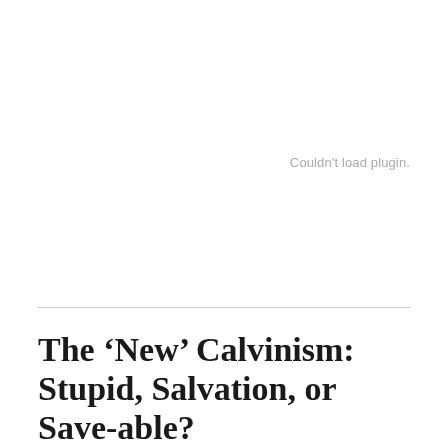Couldn't load plugin.
The ‘New’ Calvinism: Stupid, Salvation, or Save-able?
1 DECEMBER, 2010